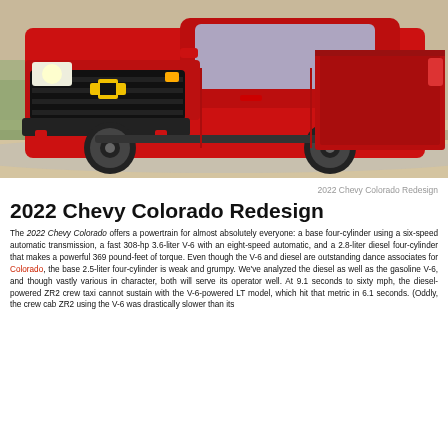[Figure (photo): Red 2022 Chevy Colorado pickup truck driving on a road, front three-quarter view]
2022 Chevy Colorado Redesign
2022 Chevy Colorado Redesign
The 2022 Chevy Colorado offers a powertrain for almost absolutely everyone: a base four-cylinder using a six-speed automatic transmission, a fast 308-hp 3.6-liter V-6 with an eight-speed automatic, and a 2.8-liter diesel four-cylinder that makes a powerful 369 pound-feet of torque. Even though the V-6 and diesel are outstanding dance associates for Colorado, the base 2.5-liter four-cylinder is weak and grumpy. We've analyzed the diesel as well as the gasoline V-6, and though vastly various in character, both will serve its operator well. At 9.1 seconds to sixty mph, the diesel-powered ZR2 crew taxi cannot sustain with the V-6-powered LT model, which hit that metric in 6.1 seconds. (Oddly, the crew cab ZR2 using the V-6 was drastically slower than its